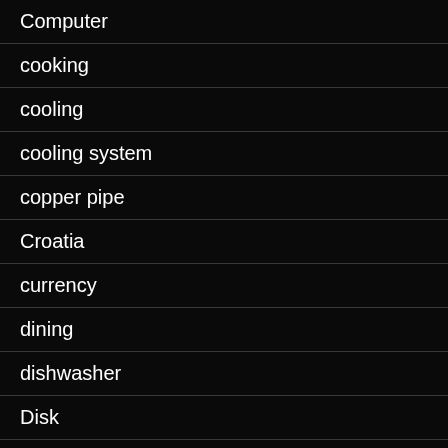Computer
cooking
cooling
cooling system
copper pipe
Croatia
currency
dining
dishwasher
Disk
disposal
DIY
Dog